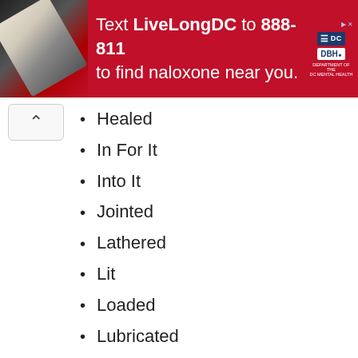[Figure (infographic): Red banner advertisement: Text LiveLongDC to 888-811 to find naloxone near you. Includes DC government and DBH logos.]
Healed
In For It
Into It
Jointed
Lathered
Lit
Loaded
Lubricated
Oiled
On His Way
Primed
Soaked
Sprung
Under
Wrapped